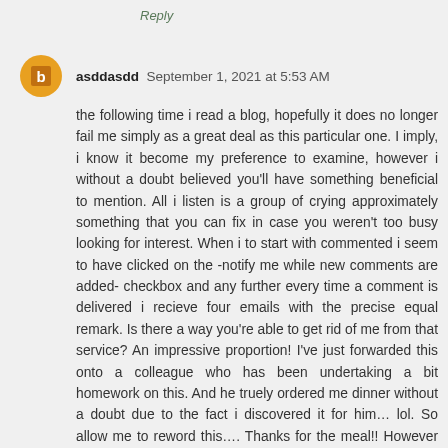Reply
asddasdd  September 1, 2021 at 5:53 AM
the following time i read a blog, hopefully it does no longer fail me simply as a great deal as this particular one. I imply, i know it become my preference to examine, however i without a doubt believed you'll have something beneficial to mention. All i listen is a group of crying approximately something that you can fix in case you weren't too busy looking for interest. When i to start with commented i seem to have clicked on the -notify me while new comments are added- checkbox and any further every time a comment is delivered i recieve four emails with the precise equal remark. Is there a way you're able to get rid of me from that service? An impressive proportion! I've just forwarded this onto a colleague who has been undertaking a bit homework on this. And he truely ordered me dinner without a doubt due to the fact i discovered it for him… lol. So allow me to reword this…. Thanks for the meal!! However yeah, thanx for spending time to talk about this subject matter here to your site. 😀😀😀😀😀